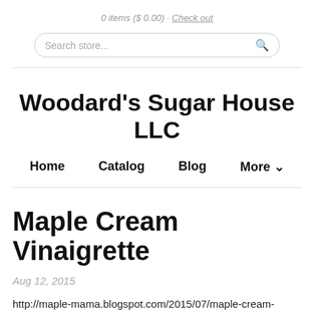0 items ($ 0.00) · Check out
Woodard's Sugar House LLC
Home    Catalog    Blog    More ▾
Maple Cream Vinaigrette
Aug 12, 2015
http://maple-mama.blogspot.com/2015/07/maple-cream-vinaigrette.html